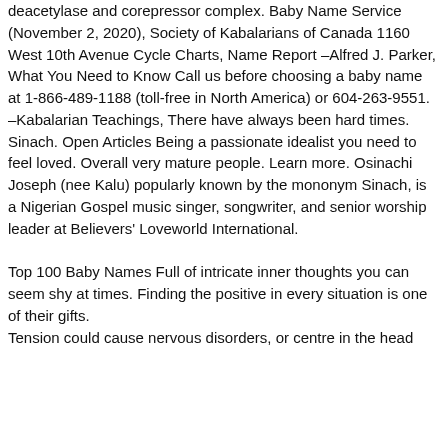deacetylase and corepressor complex. Baby Name Service (November 2, 2020), Society of Kabalarians of Canada 1160 West 10th Avenue Cycle Charts, Name Report –Alfred J. Parker, What You Need to Know Call us before choosing a baby name at 1-866-489-1188 (toll-free in North America) or 604-263-9551. –Kabalarian Teachings, There have always been hard times. Sinach. Open Articles Being a passionate idealist you need to feel loved. Overall very mature people. Learn more. Osinachi Joseph (nee Kalu) popularly known by the mononym Sinach, is a Nigerian Gospel music singer, songwriter, and senior worship leader at Believers' Loveworld International.
Top 100 Baby Names Full of intricate inner thoughts you can seem shy at times. Finding the positive in every situation is one of their gifts.
Tension could cause nervous disorders, or centre in the head